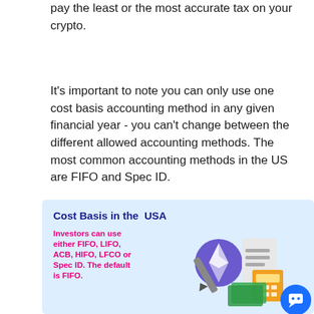pay the least or the most accurate tax on your crypto.
It's important to note you can only use one cost basis accounting method in any given financial year - you can't change between the different allowed accounting methods. The most common accounting methods in the US are FIFO and Spec ID.
[Figure (infographic): Infographic with light blue background titled 'Cost Basis in the USA' in dark blue bold text. Pink bold text reads: 'Investors can use either FIFO, LIFO, ACB, HIFO, LFCO or Spec ID. The default is FIFO.' Right side shows illustration of an Ethereum coin, a document/clipboard, and an orange calculator. A blue circular chat button is in the bottom right corner.]